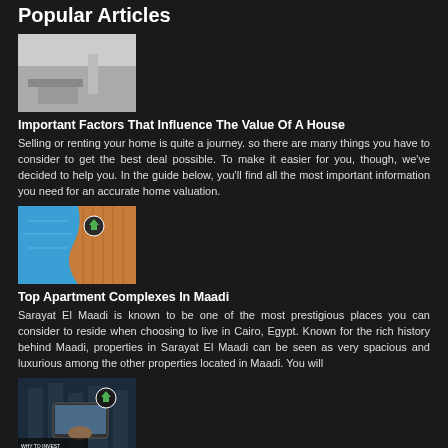Popular Articles
[Figure (photo): Interior living room photo showing modern furniture and decor]
Important Factors That Influence The Value Of A House
Selling or renting your home is quite a journey. so there are many things you have to consider to get the best deal possible. To make it easier for you, though, we've decided to help you. In the guide below, you'll find all the most important information you need for an accurate home valuation.
[Figure (illustration): Aerial view illustration showing a pool and wooden deck with a home icon]
Top Apartment Complexes In Maadi
Sarayat El Maadi is known to be one of the most prestigious places you can consider to reside when choosing to live in Cairo, Egypt. Known for the rich history behind Maadi, properties in Sarayat El Maadi can be seen as very spacious and luxurious among the other properties located in Maadi. You will
[Figure (photo): Photo of a person using a tablet with real estate data overlay and a home icon, with text 'Why to Invest How to Invest']
Egypt Real Estate Key-View 2020 - 2025
If you live in Egypt nowadays for at least the past year, it is undeniable that the